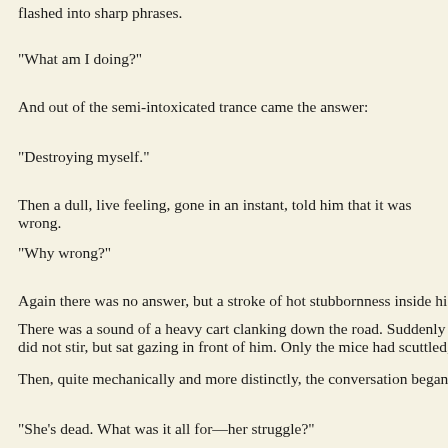flashed into sharp phrases.
"What am I doing?"
And out of the semi-intoxicated trance came the answer:
"Destroying myself."
Then a dull, live feeling, gone in an instant, told him that it was wrong.
"Why wrong?"
Again there was no answer, but a stroke of hot stubbornness inside his
There was a sound of a heavy cart clanking down the road. Suddenly t did not stir, but sat gazing in front of him. Only the mice had scuttled,
Then, quite mechanically and more distinctly, the conversation began a
"She's dead. What was it all for—her struggle?"
That was his despair wanting to go after her.
"You're alive."
"She's not."
"She is—in you."